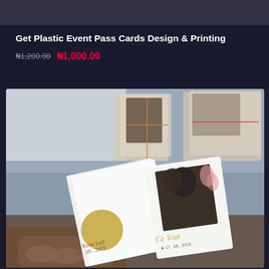[Figure (photo): Dark gray banner/header image at the top of the page]
Get Plastic Event Pass Cards Design & Printing
₦1,200.00  ₦1,000.00
[Figure (photo): Product photo showing plastic event pass cards being held in a hand, with a couple's photo on the card and stacked cards/boxes visible in the background on a gray surface.]